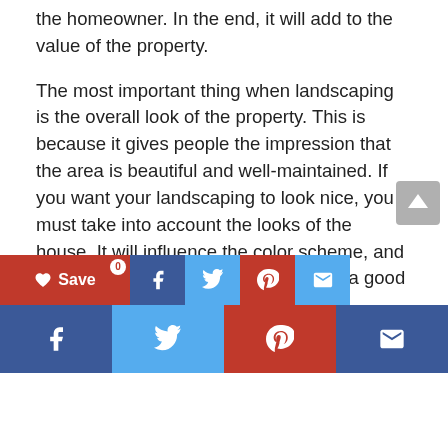the homeowner. In the end, it will add to the value of the property.
The most important thing when landscaping is the overall look of the property. This is because it gives people the impression that the area is beautiful and well-maintained. If you want your landscaping to look nice, you must take into account the looks of the house. It will influence the color scheme, and can make the lawn look unkempt. So, a good landscaper must consider the house's appearance to make the design work. The best landscapes compliment each other.
[Figure (other): Social share toolbar with Save, Facebook, Twitter, Pinterest, and Email buttons, followed by a sticky bottom bar with the same social icons]